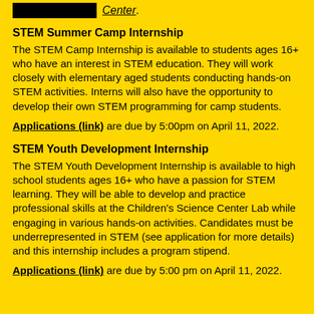Center.
STEM Summer Camp Internship
The STEM Camp Internship is available to students ages 16+ who have an interest in STEM education. They will work closely with elementary aged students conducting hands-on STEM activities. Interns will also have the opportunity to develop their own STEM programming for camp students.
Applications (link) are due by 5:00pm on April 11, 2022.
STEM Youth Development Internship
The STEM Youth Development Internship is available to high school students ages 16+ who have a passion for STEM learning. They will be able to develop and practice professional skills at the Children's Science Center Lab while engaging in various hands-on activities. Candidates must be underrepresented in STEM (see application for more details) and this internship includes a program stipend.
Applications (link) are due by 5:00 pm on April 11, 2022.